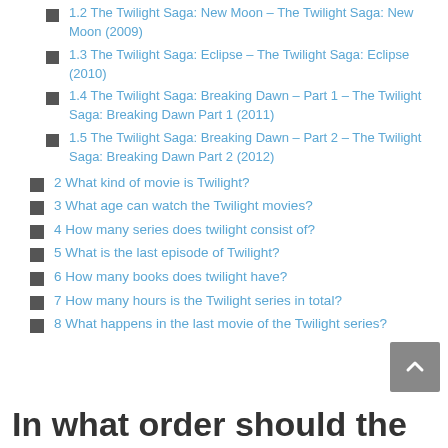1.2 The Twilight Saga: New Moon – The Twilight Saga: New Moon (2009)
1.3 The Twilight Saga: Eclipse – The Twilight Saga: Eclipse (2010)
1.4 The Twilight Saga: Breaking Dawn – Part 1 – The Twilight Saga: Breaking Dawn Part 1 (2011)
1.5 The Twilight Saga: Breaking Dawn – Part 2 – The Twilight Saga: Breaking Dawn Part 2 (2012)
2 What kind of movie is Twilight?
3 What age can watch the Twilight movies?
4 How many series does twilight consist of?
5 What is the last episode of Twilight?
6 How many books does twilight have?
7 How many hours is the Twilight series in total?
8 What happens in the last movie of the Twilight series?
In what order should the